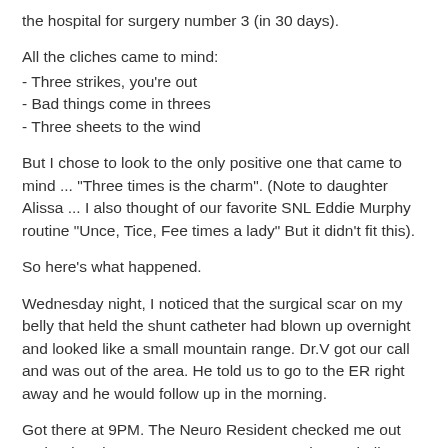the hospital for surgery number 3 (in 30 days).
All the cliches came to mind:
- Three strikes, you're out
- Bad things come in threes
- Three sheets to the wind
But I chose to look to the only positive one that came to mind ... "Three times is the charm". (Note to daughter Alissa ... I also thought of our favorite SNL Eddie Murphy routine "Unce, Tice, Fee times a lady" But it didn't fit this).
So here's what happened.
Wednesday night, I noticed that the surgical scar on my belly that held the shunt catheter had blown up overnight and looked like a small mountain range. Dr.V got our call and was out of the area. He told us to go to the ER right away and he would follow up in the morning.
Got there at 9PM. The Neuro Resident checked me out and ordered a CT scan. We were sent to the ER hallway where I